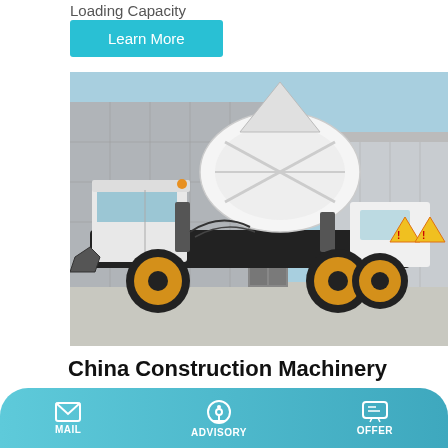Loading Capacity
Learn More
[Figure (photo): A white self-loading concrete mixer truck (Oriemac Hb52K) photographed outdoors in front of industrial buildings. The truck has yellow wheels, a large white mixing drum, and a cab on the left side.]
China Construction Machinery Oriemac Hb52K 52m Truck
MAIL   ADVISORY   OFFER